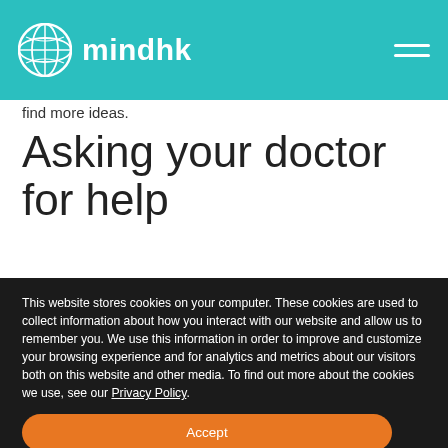mindhk
find more ideas.
Asking your doctor for help
This website stores cookies on your computer. These cookies are used to collect information about how you interact with our website and allow us to remember you. We use this information in order to improve and customize your browsing experience and for analytics and metrics about our visitors both on this website and other media. To find out more about the cookies we use, see our Privacy Policy.
Accept